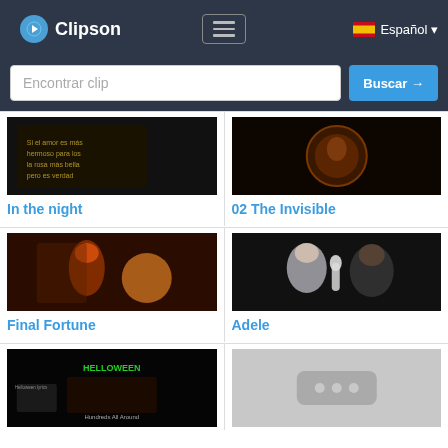Clipson
Encontrar clip
Buscar →
[Figure (screenshot): Thumbnail for 'In the night' - dark background with Spanish text overlay]
In the night
[Figure (screenshot): Thumbnail for '02 The Invisible' - circular artwork with dark background]
02 The Invisible
[Figure (screenshot): Thumbnail for 'Final Fortune' - colorful fantasy artwork with warm tones]
Final Fortune
[Figure (screenshot): Thumbnail for 'Adele' - two singers performing with a microphone]
Adele
[Figure (screenshot): Thumbnail for Helloween 'Hundreds All Around' - dark album art with text]
[Figure (screenshot): Gray placeholder thumbnail with YouTube-style icon]